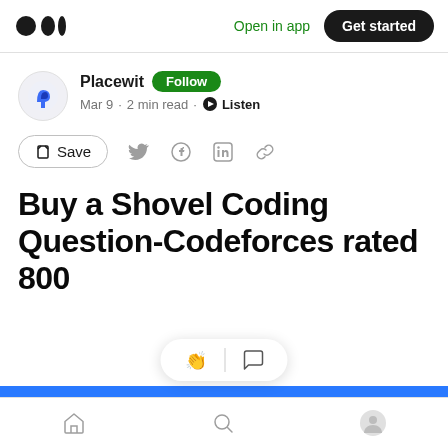Open in app  Get started
Placewit  Follow
Mar 9 · 2 min read · Listen
Save
Buy a Shovel Coding Question-Codeforces rated 800
Home  Search  Profile